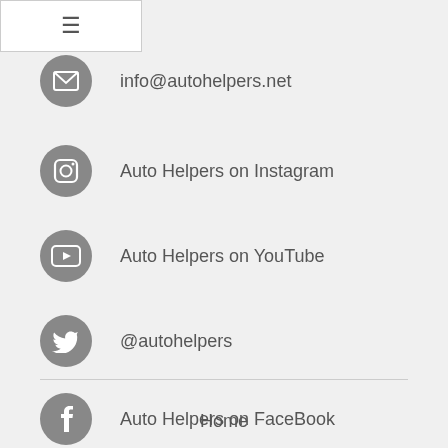including Holidays!!
info@autohelpers.net
Auto Helpers on Instagram
Auto Helpers on YouTube
@autohelpers
Auto Helpers on FaceBook
Home